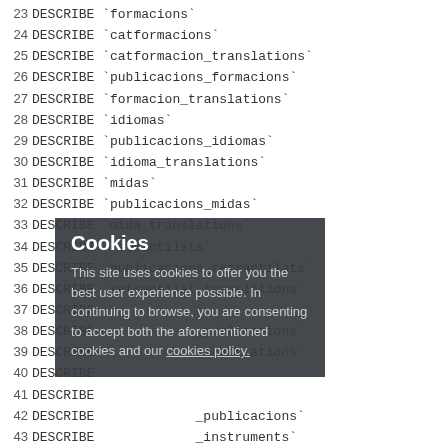23  DESCRIBE `formacions`
24  DESCRIBE `catformacions`
25  DESCRIBE `catformacion_translations`
26  DESCRIBE `publicacions_formacions`
27  DESCRIBE `formacion_translations`
28  DESCRIBE `idiomas`
29  DESCRIBE `publicacions_idiomas`
30  DESCRIBE `idioma_translations`
31  DESCRIBE `midas`
32  DESCRIBE `publicacions_midas`
33  DESCRIBE `mida_translations`
34  DESCRIBE `retractilats`
35  DESCRIBE `publicacions_retractilats`
36  DESCRIBE `retractilat_translations`
37  DESCRIBE ...
38  DESCRIBE ..._publicacions`
39  DESCRIBE ..._translations`
40  DESCRIBE ...
41  DESCRIBE ...
42  DESCRIBE ..._publicacions`
43  DESCRIBE ..._instruments`
44  DESCRIBE ..._translations`
45  DESCRIBE ..._translations`
46  DESCRIBE ...nt_translations`
47  DESCRIBE ...
48  DESCRIBE ...
49  DESCRIBE ...
50  DESCRIBE `archivestypes`
51  DESCRIBE `pages`
52  DESCRIBE `pages_translations`
53  DESCRIBE `orders`
54  DESCRIBE `invoices`
Cookies - This site uses cookies to offer you the best user experience possible. In continuing to browse, you are consenting to accept both the aforementioned cookies and our cookies policy.